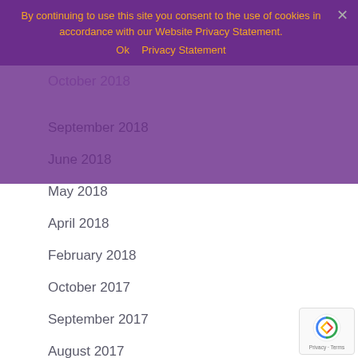By continuing to use this site you consent to the use of cookies in accordance with our Website Privacy Statement.
Ok   Privacy Statement
January 2019
November 2018
October 2018
September 2018
June 2018
May 2018
April 2018
February 2018
October 2017
September 2017
August 2017
June 2017
March 2017
February 2017